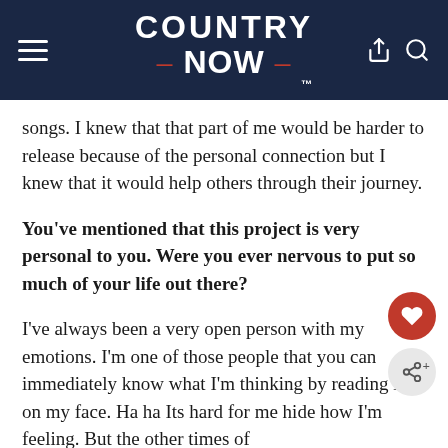COUNTRY NOW
songs. I knew that that part of me would be harder to release because of the personal connection but I knew that it would help others through their journey.
You've mentioned that this project is very personal to you. Were you ever nervous to put so much of your life out there?
I've always been a very open person with my emotions. I'm one of those people that you can immediately know what I'm thinking by reading it on my face. Ha ha Its hard for me hide how I'm feeling. But the other times of